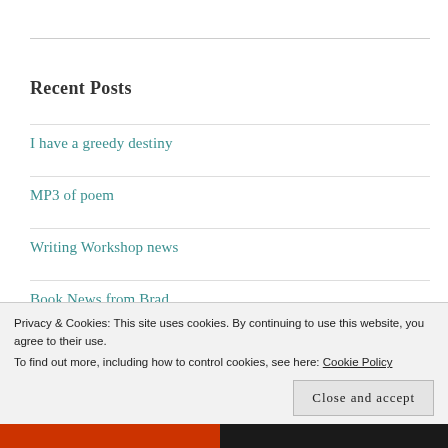Recent Posts
I have a greedy destiny
MP3 of poem
Writing Workshop news
Book News from Brad
November Update from Brad
Privacy & Cookies: This site uses cookies. By continuing to use this website, you agree to their use. To find out more, including how to control cookies, see here: Cookie Policy
Close and accept